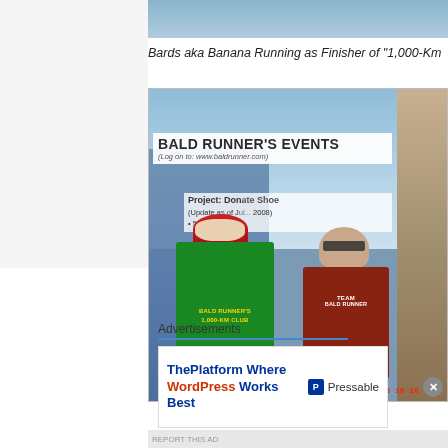[Figure (photo): Partial photo visible at top of page, appears to be people at running event]
Bards aka Banana Running as Finisher of "1,000-Km Club"
[Figure (photo): Photo of two men posing with a green '1,000-KM CLUB' t-shirt in front of a 'Bald Runner's Events' banner. Timestamp reads 2008 10 26.]
Advertisements
[Figure (infographic): Advertisement for Pressable: 'ThePlatform Where WordPress Works Best' with Pressable logo]